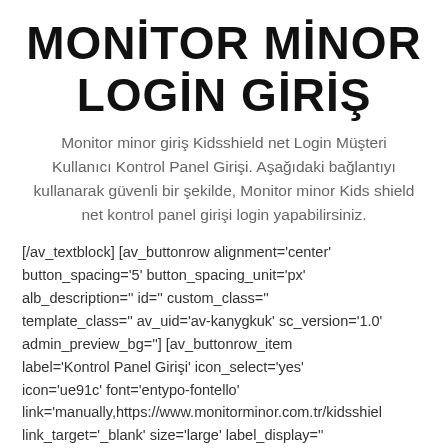MONİTOR MİNOR LOGİN GİRİŞ
Monitor minor giriş Kidsshield net Login Müşteri Kullanıcı Kontrol Panel Girişi. Aşağıdaki bağlantıyı kullanarak güvenli bir şekilde, Monitor minor Kids shield net kontrol panel girişi login yapabilirsiniz.
[/av_textblock] [av_buttonrow alignment='center' button_spacing='5' button_spacing_unit='px' alb_description='' id='' custom_class='' template_class='' av_uid='av-kanygkuk' sc_version='1.0' admin_preview_bg=''] [av_buttonrow_item label='Kontrol Panel Girişi' icon_select='yes' icon='ue91c' font='entypo-fontello' link='manually,https://www.monitorminor.com.tr/kidsshiel link_target='_blank' size='large' label_display='' title_attr='' color_options='' color='light' custom_bg='#444444' custom_font='#ffffff' btn_color_bg='light' btn_custom_bg='#444444'